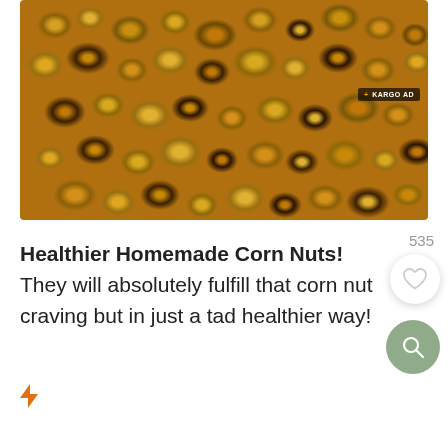[Figure (photo): Close-up photo of roasted corn nuts on a baking sheet, golden-brown with dark charred spots, spread across a metal pan. A small '+ KARGO AD' badge appears in the upper right of the image.]
Healthier Homemade Corn Nuts! They will absolutely fulfill that corn nut craving but in just a tad healthier way!